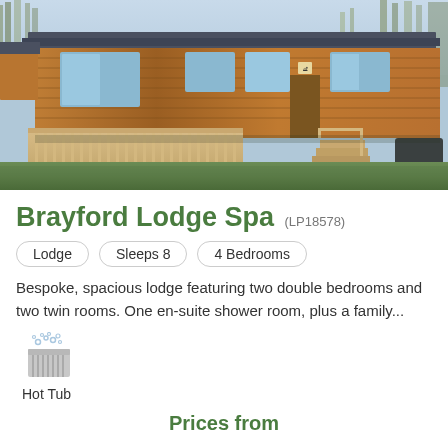[Figure (photo): Exterior photo of Brayford Lodge Spa, a wooden lodge with large deck and railing, surrounded by trees and grass]
Brayford Lodge Spa (LP18578)
Lodge
Sleeps 8
4 Bedrooms
Bespoke, spacious lodge featuring two double bedrooms and two twin rooms. One en-suite shower room, plus a family...
[Figure (illustration): Hot Tub amenity icon showing a hot tub with steam/bubbles above it]
Hot Tub
Prices from